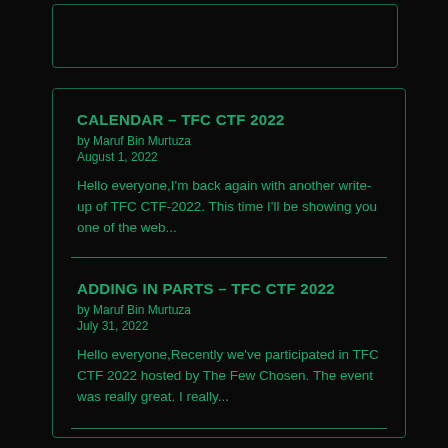[Figure (other): Partial top card with teal border on dark background]
CALENDAR – TFC CTF 2022
by Maruf Bin Murtuza
August 1, 2022
Hello everyone,I'm back again with another write-up of TFC CTF-2022. This time I'll be showing you one of the web...
ADDING IN PARTS – TFC CTF 2022
by Maruf Bin Murtuza
July 31, 2022
Hello everyone,Recently we've participated in TFC CTF 2022 hosted by The Few Chosen. The event was really great. I really...